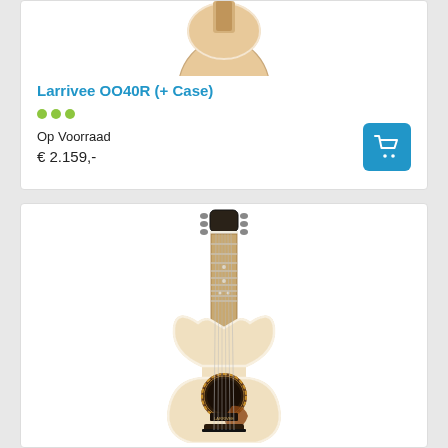[Figure (photo): Partial top view of a Larrivee OO40R acoustic guitar (natural finish), cropped at top showing body]
Larrivee OO40R (+ Case)
Op Voorraad
€ 2.159,-
[Figure (photo): Full frontal view of an acoustic guitar (natural spruce top, rosewood fretboard, tortoise pickguard) standing upright against white background]